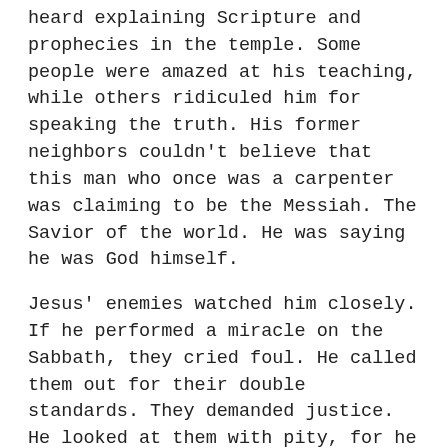heard explaining Scripture and prophecies in the temple. Some people were amazed at his teaching, while others ridiculed him for speaking the truth. His former neighbors couldn't believe that this man who once was a carpenter was claiming to be the Messiah. The Savior of the world. He was saying he was God himself.
Jesus' enemies watched him closely. If he performed a miracle on the Sabbath, they cried foul. He called them out for their double standards. They demanded justice. He looked at them with pity, for he knew their hearts were hardened against him and the truth. They plotted how to kill him.
The teachers of religious law claimed he was